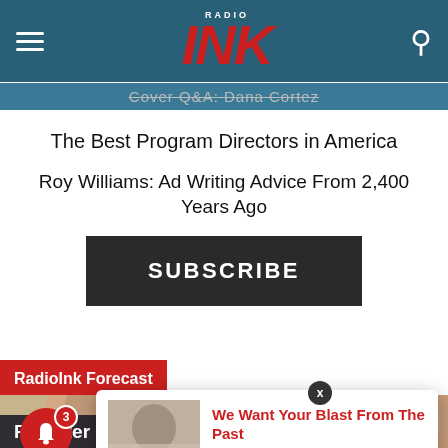Radio Ink
Cover Q&A: Dana Cortez
The Best Program Directors in America
Roy Williams: Ad Writing Advice From 2,400 Years Ago
SUBSCRIBE
RadioInk Forecast
[Figure (photo): Three men photographed together in a room with red walls and artwork in the background]
Register NOW
We Want Your Blast From The Past
8 hours ago
SELL MORE!